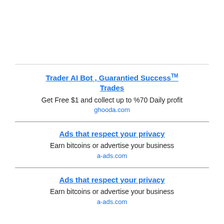Trader AI Bot , Guarantied Success Trades
Get Free $1 and collect up to %70 Daily profit
ghooda.com
Ads that respect your privacy
Earn bitcoins or advertise your business
a-ads.com
Ads that respect your privacy
Earn bitcoins or advertise your business
a-ads.com